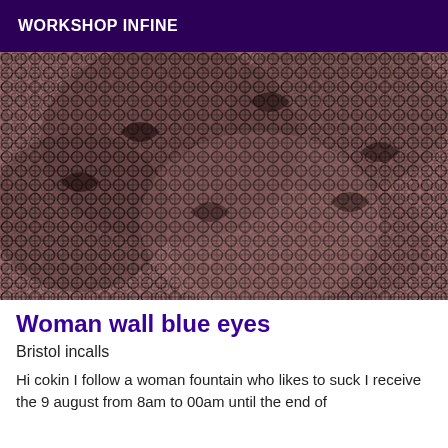WORKSHOP INFINE
[Figure (photo): Close-up photo of fishnet/lace patterned fabric in dark tones with a mauve/brown base, showing a repeating star or floral mesh pattern.]
Woman wall blue eyes
Bristol incalls
Hi cokin I follow a woman fountain who likes to suck I receive the 9 august from 8am to 00am until the end of